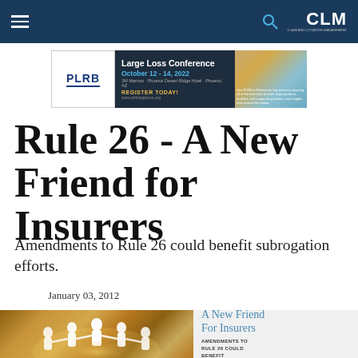CLM — navigation bar with hamburger menu, search icon, and CLM logo
[Figure (photo): PLRB Large Loss Conference advertisement banner. October 12-14, 2022. JW Marriott Phoenix Desert Ridge Hotel, Phoenix, AZ. Register Today! www.plrblargeloss.org. Photo of resort/hotel.]
Rule 26 - A New Friend for Insurers
Amendments to Rule 26 could benefit subrogation efforts.
January 03, 2012
[Figure (photo): Left: golden-toned photo of paper chain figures holding hands in a circle with light in center. Right: article cover card reading 'A New Friend For Insurers — AMENDMENTS TO RULE 26 COULD BENEFIT']